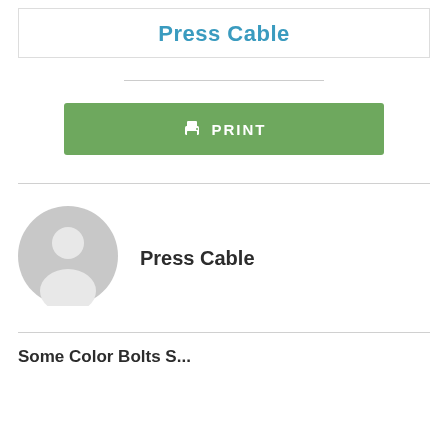Press Cable
[Figure (other): Green PRINT button with printer icon]
[Figure (other): Grey avatar/profile placeholder icon]
Press Cable
Some Color Bolts S...